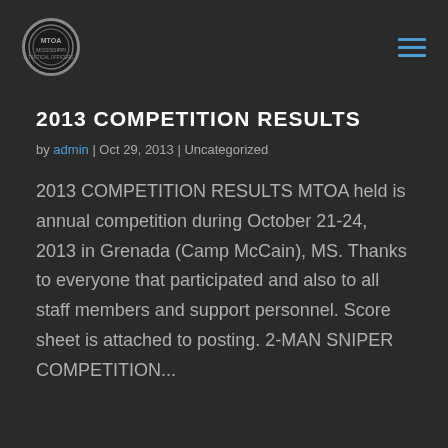MTOA logo and navigation
2013 COMPETITION RESULTS
by admin | Oct 29, 2013 | Uncategorized
2013 COMPETITION RESULTS MTOA held is annual competition during October 21-24, 2013 in Grenada (Camp McCain), MS. Thanks to everyone that participated and also to all staff members and support personnel. Score sheet is attached to posting. 2-MAN SNIPER COMPETITION...